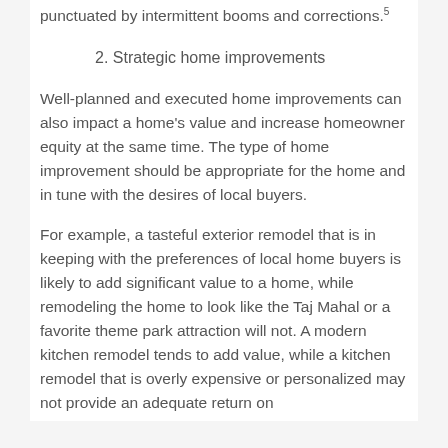punctuated by intermittent booms and corrections.5
2. Strategic home improvements
Well-planned and executed home improvements can also impact a home's value and increase homeowner equity at the same time. The type of home improvement should be appropriate for the home and in tune with the desires of local buyers.
For example, a tasteful exterior remodel that is in keeping with the preferences of local home buyers is likely to add significant value to a home, while remodeling the home to look like the Taj Mahal or a favorite theme park attraction will not. A modern kitchen remodel tends to add value, while a kitchen remodel that is overly expensive or personalized may not provide an adequate return on